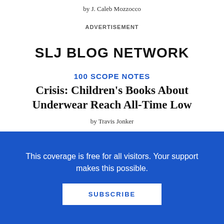by J. Caleb Mozzocco
ADVERTISEMENT
SLJ BLOG NETWORK
100 SCOPE NOTES
Crisis: Children's Books About Underwear Reach All-Time Low
by Travis Jonker
A FUSE #8 PRODUCTION
This coverage is free for all visitors. Your support makes this possible.
SUBSCRIBE